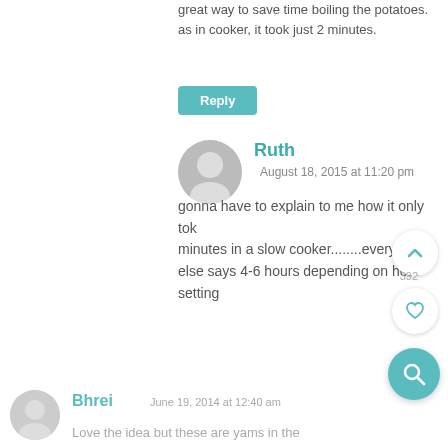great way to save time boiling the potatoes. as in cooker, it took just 2 minutes.
Reply
Ruth
August 18, 2015 at 11:20 pm
gonna have to explain to me how it only took minutes in a slow cooker........everyone else says 4-6 hours depending on heat setting
Bhrei
June 19, 2014 at 12:40 am
Love the idea but these are yams in the